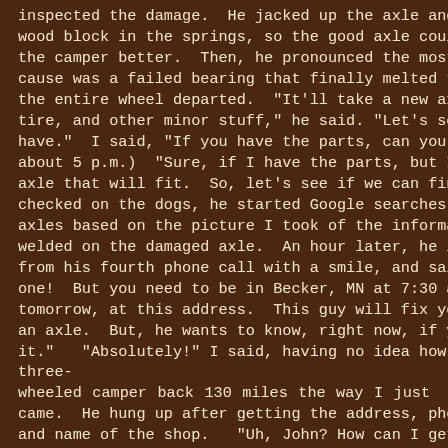inspected the damage.  He jacked up the axle and put a wood block in the springs, so the good axle could support the camper better.  Then, he pronounced the most likely cause was a failed bearing that finally melted the axle and the entire wheel departed.  "It'll take a new axle, bearing, tire, and other minor stuff," he said. "Let's see what I have."  I said, "If you have the parts, can you fix it?"  (It's about 5 p.m.)  "Sure, if I have the parts, but I don't have an axle that will fit.  So, let's see if we can find one."   While I checked on the dogs, he started Google searches for RV axles based on the picture I took of the information plate welded on the damaged axle.  An hour later, he looked up from his fourth phone call with a smile, and said, "I found one!  But you need to be in Becker, MN at 7:30 a.m. tomorrow, at this address.  This guy will fix you up.  He has an axle.  But, he wants to know, right now, if you can make it."  "Absolutely!" I said, having no idea how I would get a three-wheeled camper back 130 miles the way I just came.  He hung up after getting the address, phone number, and name of the shop.  "Uh, John? How can I get my camper 130 miles back the way I came?" I said.  "Randy, I see this type of thing all the time.  You have 3 good tires